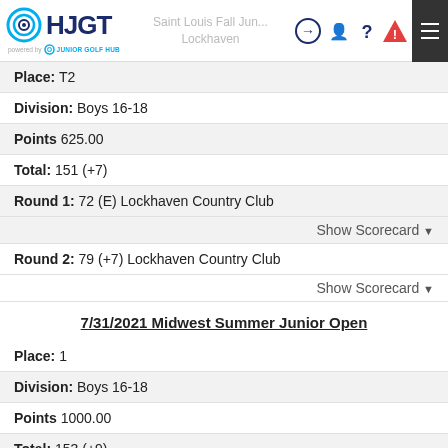HJGT | Saint Louis Fall Junior Open Lockhaven
Place: T2
Division: Boys 16-18
Points 625.00
Total: 151 (+7)
Round 1: 72 (E) Lockhaven Country Club
Show Scorecard
Round 2: 79 (+7) Lockhaven Country Club
Show Scorecard
7/31/2021 Midwest Summer Junior Open
Place: 1
Division: Boys 16-18
Points 1000.00
Total: 153 (+9)
Round 1: 77 (+5) Spencer T. Olin Golf Course -